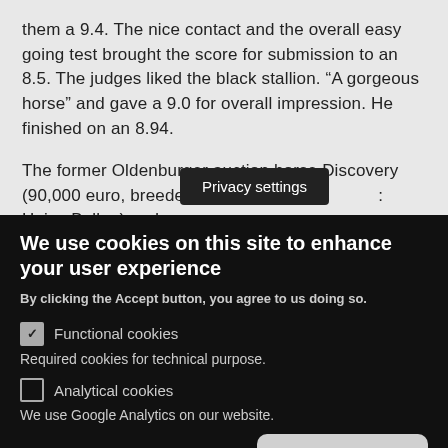them a 9.4. The nice contact and the overall easy going test brought the score for submission to an 8.5. The judges liked the black stallion. “A gorgeous horse” and gave a 9.0 for overall impression. He finished on an 8.94.
The former Oldenburger auction horse Discovery (90,000 euro, breeder: Josef [Privacy settings] Heinz Bellen) under [partially obscured text]
Privacy settings
We use cookies on this site to enhance your user experience
By clicking the Accept button, you agree to us doing so.
Functional cookies
Required cookies for technical purpose.
Analytical cookies
We use Google Analytics on our website.
Save preferences
Accept all cookies